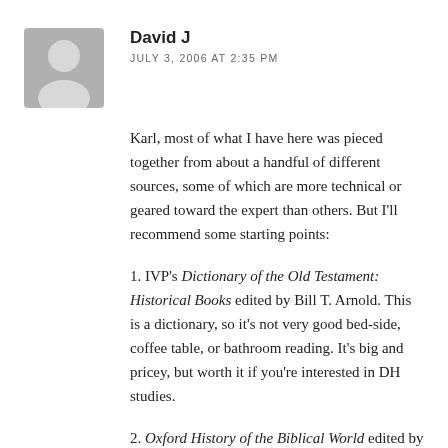[Figure (illustration): Generic grey avatar silhouette icon of a person]
David J
JULY 3, 2006 AT 2:35 PM
Karl, most of what I have here was pieced together from about a handful of different sources, some of which are more technical or geared toward the expert than others. But I'll recommend some starting points:
1. IVP's Dictionary of the Old Testament: Historical Books edited by Bill T. Arnold. This is a dictionary, so it's not very good bed-side, coffee table, or bathroom reading. It's big and pricey, but worth it if you're interested in DH studies.
2. Oxford History of the Biblical World edited by Michael D. Coogan. This book should be on every Bible guy's shelf. Honest and balanced. It's where I got Stager's 3 assumptions above.